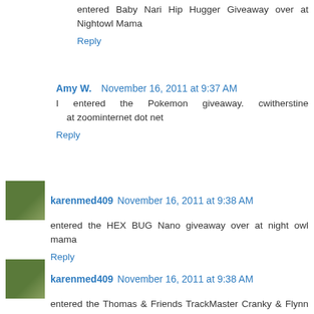entered Baby Nari Hip Hugger Giveaway over at Nightowl Mama
Reply
Amy W.  November 16, 2011 at 9:37 AM
I entered the Pokemon giveaway. cwitherstine at zoominternet dot net
Reply
karenmed409  November 16, 2011 at 9:38 AM
entered the HEX BUG Nano giveaway over at night owl mama
Reply
karenmed409  November 16, 2011 at 9:38 AM
entered the Thomas & Friends TrackMaster Cranky & Flynn Giveaway over at Life is a Sandcastle